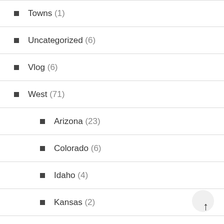Towns (1)
Uncategorized (6)
Vlog (6)
West (71)
Arizona (23)
Colorado (6)
Idaho (4)
Kansas (2)
Montana (5)
Nebraska (2)
Nevada (6)